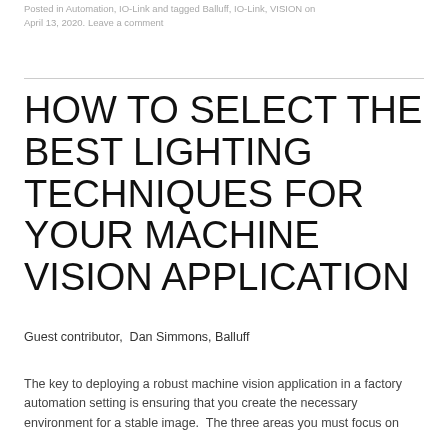Posted in Automation, IO-Link and tagged Balluff, IO-Link, VISION on April 13, 2020. Leave a comment
HOW TO SELECT THE BEST LIGHTING TECHNIQUES FOR YOUR MACHINE VISION APPLICATION
Guest contributor,  Dan Simmons, Balluff
The key to deploying a robust machine vision application in a factory automation setting is ensuring that you create the necessary environment for a stable image.  The three areas you must focus on